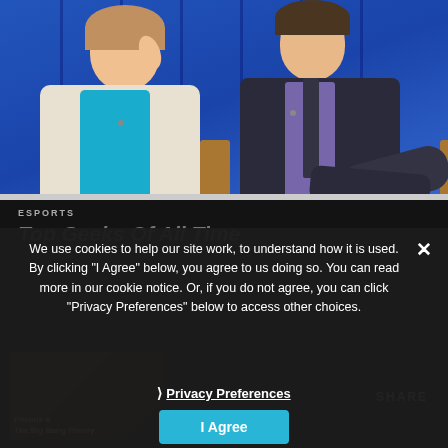[Figure (photo): Two people seated at a panel event. A woman on the left wearing a beige blazer over a teal top, and a man on the right wearing a dark suit with a purple tie, both seated in front of a blue curtain backdrop.]
ESPORTS
Top Geeks Of All Time
[Figure (photo): Smaller thumbnail image in the bottom strip, partially obscured by the cookie consent overlay.]
We use cookies to help our site work, to understand how it is used. By clicking "I Agree" below, you agree to us doing so. You can read more in our cookie notice. Or, if you do not agree, you can click "Privacy Preferences" below to access other choices.
❯ Privacy Preferences
I Agree
SHARE